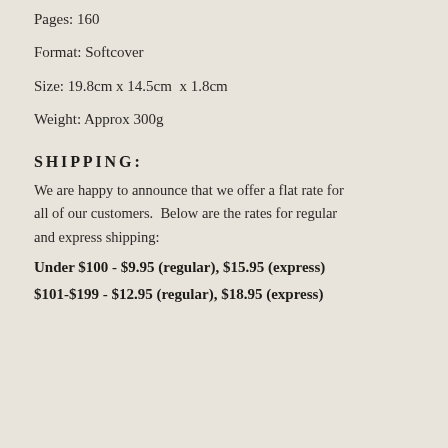Pages: 160
Format: Softcover
Size: 19.8cm x 14.5cm  x 1.8cm
Weight: Approx 300g
SHIPPING:
We are happy to announce that we offer a flat rate for all of our customers.  Below are the rates for regular and express shipping:
Under $100 - $9.95 (regular), $15.95 (express)
$101-$199 - $12.95 (regular), $18.95 (express)